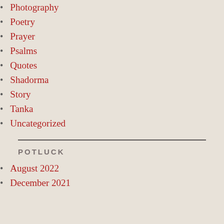Photography
Poetry
Prayer
Psalms
Quotes
Shadorma
Story
Tanka
Uncategorized
POTLUCK
August 2022
December 2021